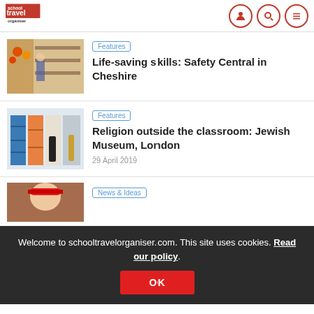school travel organiser (logo with navigation icons)
Features
Life-saving skills: Safety Central in Cheshire
[Figure (photo): Interior photo of a shop aisle with fruits and shelving]
Features
Religion outside the classroom: Jewish Museum, London
29 April 2019
[Figure (photo): Interior photo of colourful shelving display]
Welcome to schooltravelorganiser.com. This site uses cookies. Read our policy.
OK
News & Ideas
[Figure (photo): Partial photo of a person wearing a cap]